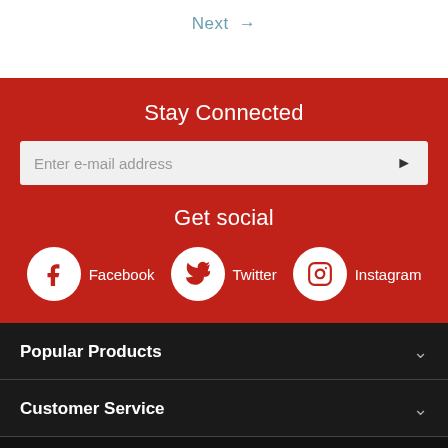Next →
Stay Connected
Enter e-mail address
Get social
Facebook  Twitter  Instagram
Popular Products
Customer Service